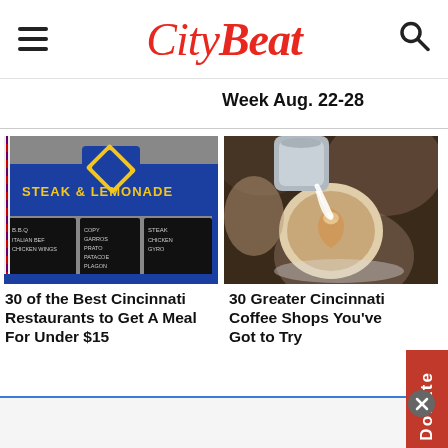CityBeat
Week Aug. 22-28
[Figure (photo): Exterior of Steak & Lemonade restaurant with blue awning and yellow text]
30 of the Best Cincinnati Restaurants to Get A Meal For Under $15
[Figure (photo): Person pouring milk into a latte art coffee cup]
30 Greater Cincinnati Coffee Shops You've Got to Try